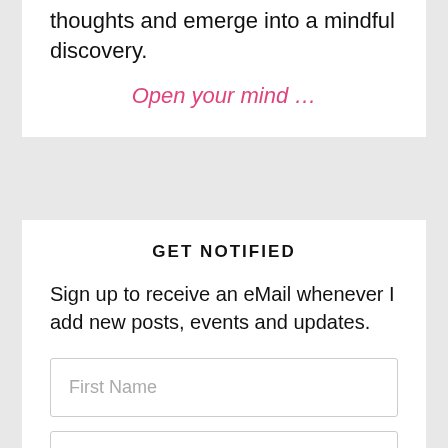thoughts and emerge into a mindful discovery.
Open your mind …
GET NOTIFIED
Sign up to receive an eMail whenever I add new posts, events and updates.
First Name
eMail